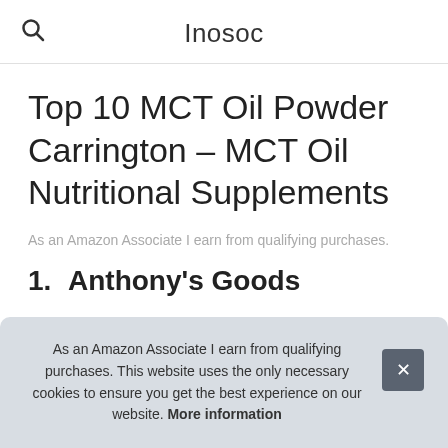Inosoc
Top 10 MCT Oil Powder Carrington – MCT Oil Nutritional Supplements
As an Amazon Associate I earn from qualifying purchases.
1. Anthony's Goods
#ad
As an Amazon Associate I earn from qualifying purchases. This website uses the only necessary cookies to ensure you get the best experience on our website. More information